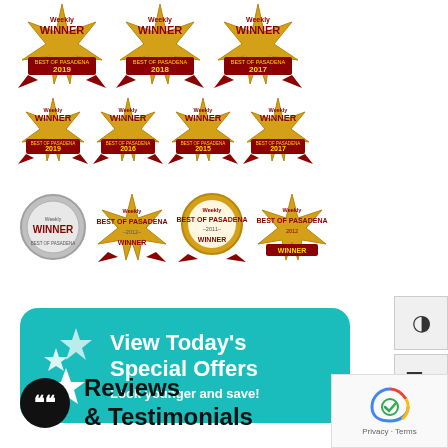[Figure (illustration): Three rows of Pasadena Weekly Winner award badges. Row 1: three large gold/red badges for Best of Pasadena 2019, 2018, 2017. Row 2: four medium gold/red badges for Best of Pasadena 2019, 2016, 2015, 2017. Row 3: four smaller badges including a round silver winner badge, and three Best of Pasadena winner badges for 2012, 2011, 2012.]
[Figure (infographic): Teal rounded rectangle button with white star icons on left and white bold text reading 'View Today's Special Offers' with subtext 'Look younger and save!']
Reviews & Testimonials